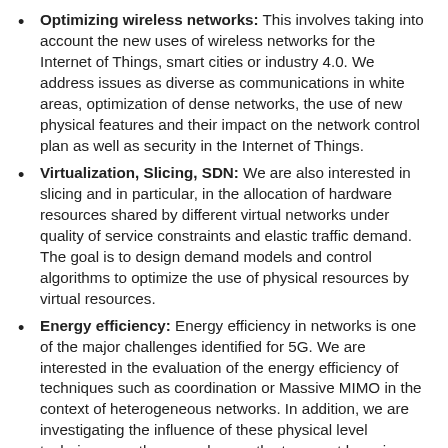Optimizing wireless networks: This involves taking into account the new uses of wireless networks for the Internet of Things, smart cities or industry 4.0. We address issues as diverse as communications in white areas, optimization of dense networks, the use of new physical features and their impact on the network control plan as well as security in the Internet of Things.
Virtualization, Slicing, SDN: We are also interested in slicing and in particular, in the allocation of hardware resources shared by different virtual networks under quality of service constraints and elastic traffic demand. The goal is to design demand models and control algorithms to optimize the use of physical resources by virtual resources.
Energy efficiency: Energy efficiency in networks is one of the major challenges identified for 5G. We are interested in the evaluation of the energy efficiency of techniques such as coordination or Massive MIMO in the context of heterogeneous networks. In addition, we are investigating the influence of these physical level techniques on the upper layers, the transport layer in particular, in order to integrate the time constraints, which may be related to mobility, coordination or variation of